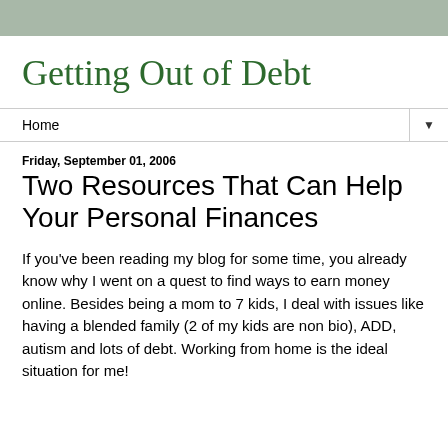Getting Out of Debt
Home
Friday, September 01, 2006
Two Resources That Can Help Your Personal Finances
If you've been reading my blog for some time, you already know why I went on a quest to find ways to earn money online. Besides being a mom to 7 kids, I deal with issues like having a blended family (2 of my kids are non bio), ADD, autism and lots of debt. Working from home is the ideal situation for me!